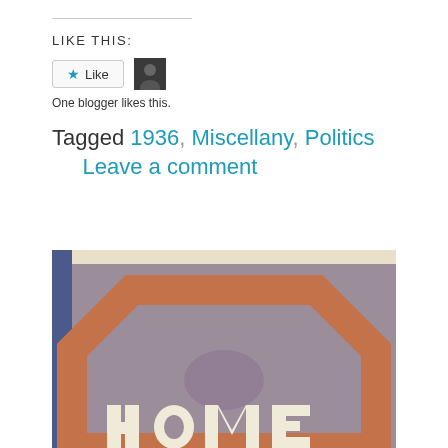LIKE THIS:
[Figure (screenshot): Like button with star icon and a small avatar thumbnail of a blogger]
One blogger likes this.
Tagged 1936, Miscellany, Politics      Leave a comment
[Figure (photo): Vintage poster or book cover showing the word HOME in large white letters on a dusty purple background with a terracotta/orange octagonal border shape and a blue vertical stripe on the left edge]